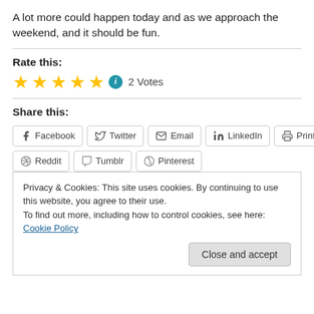A lot more could happen today and as we approach the weekend, and it should be fun.
Rate this:
[Figure (other): Five gold stars rating with info icon and '2 Votes' text]
Share this:
[Figure (other): Social share buttons: Facebook, Twitter, Email, LinkedIn, Print, Reddit, Tumblr, Pinterest]
Privacy & Cookies: This site uses cookies. By continuing to use this website, you agree to their use. To find out more, including how to control cookies, see here: Cookie Policy
Close and accept